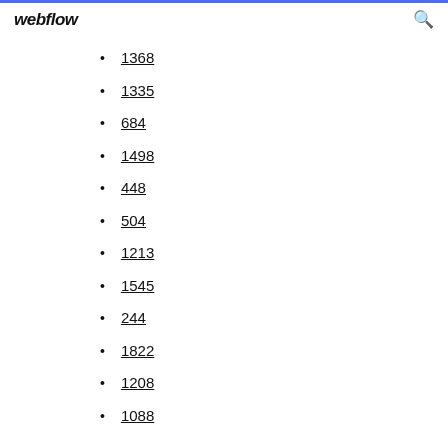webflow
1368
1335
684
1498
448
504
1213
1545
244
1822
1208
1088